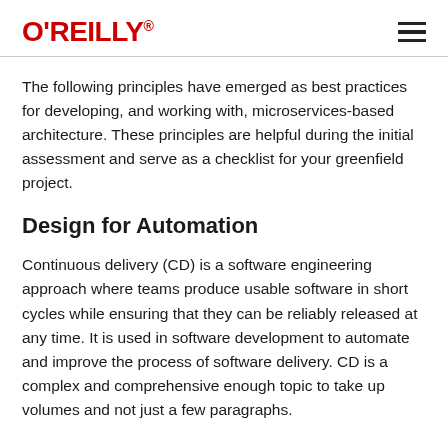O'REILLY
The following principles have emerged as best practices for developing, and working with, microservices-based architecture. These principles are helpful during the initial assessment and serve as a checklist for your greenfield project.
Design for Automation
Continuous delivery (CD) is a software engineering approach where teams produce usable software in short cycles while ensuring that they can be reliably released at any time. It is used in software development to automate and improve the process of software delivery. CD is a complex and comprehensive enough topic to take up volumes and not just a few paragraphs.